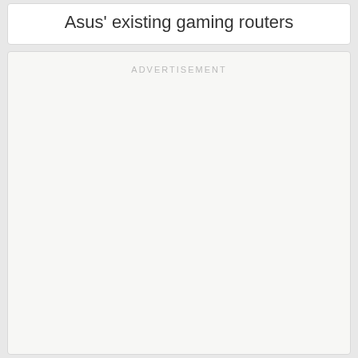Asus' existing gaming routers
ADVERTISEMENT